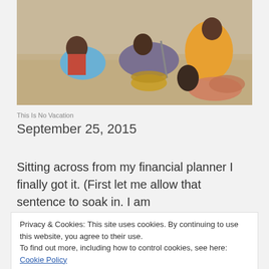[Figure (photo): Photograph of people sitting on a ground outdoors, with children and adults, a wicker basket visible in the center, colorful clothing.]
This Is No Vacation
September 25, 2015
Sitting across from my financial planner I finally got it. (First let me allow that sentence to soak in. I am
Privacy & Cookies: This site uses cookies. By continuing to use this website, you agree to their use.
To find out more, including how to control cookies, see here: Cookie Policy
Close and accept